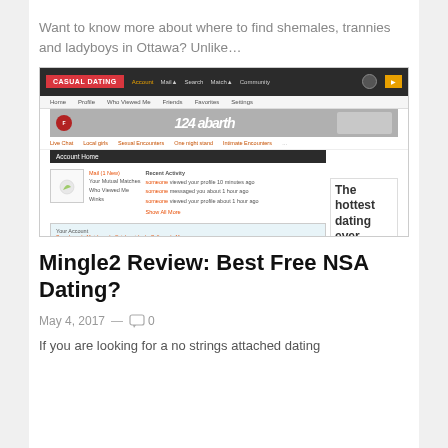Want to know more about where to find shemales, trannies and ladyboys in Ottawa? Unlike…
[Figure (screenshot): Screenshot of a casual dating website interface showing navigation bar with 'CASUAL DATING' logo, user account home page with profile section, recent activity, and 'People You Might Be Interested In' section. A sidebar advertisement reads 'The hottest dating ever - Find locals in their hometown. Discover 1000s of']
Mingle2 Review: Best Free NSA Dating?
May 4, 2017  —  0
If you are looking for a no strings attached dating